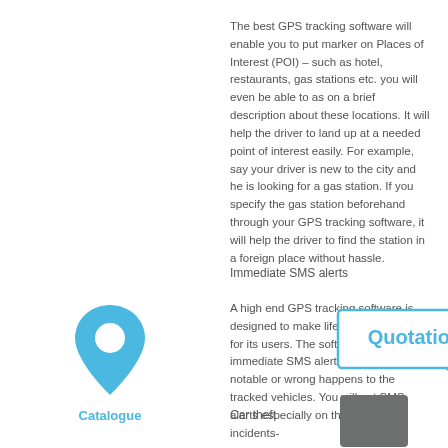The best GPS tracking software will enable you to put marker on Places of Interest (POI) – such as hotel, restaurants, gas stations etc. you will even be able to as on a brief description about these locations. It will help the driver to land up at a needed point of interest easily. For example, say your driver is new to the city and he is looking for a gas station. If you specify the gas station beforehand through your GPS tracking software, it will help the driver to find the station in a foreign place without hassle.
Immediate SMS alerts
[Figure (illustration): Blue map pin / location marker icon with a white circle cutout, and below it the word Catalogue in blue bold text]
A high end GPS tracking software is designed to make life more convenient for its users. The software will send immediate SMS alerts if anything notable or wrong happens to the tracked vehicles. You will get SMS alerts especially on the following incidents-
[Figure (other): Speech bubble callout box with the word Quotation in bold blue text, with a tail pointing downward-right]
Car theft
[Figure (other): Dark grey/charcoal square rectangle]